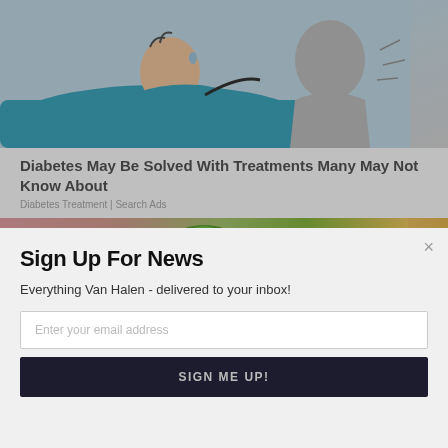[Figure (illustration): Cartoon/illustration showing a person lying in bed wearing a teal shirt, appearing stressed or ill, with a gray figure nearby — related to diabetes treatment advertisement]
Diabetes May Be Solved With Treatments Many May Not Know About
Diabetes Treatment | Search Ads
[Figure (photo): Photo of a green broccoli head against a blurred pink/orange background, with a white SUMO logo badge overlaid in the center]
Sign Up For News
Everything Van Halen - delivered to your inbox!
Enter your email address
SIGN ME UP!